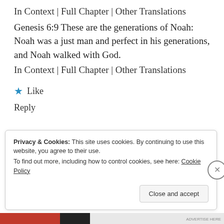In Context | Full Chapter | Other Translations
Genesis 6:9 These are the generations of Noah: Noah was a just man and perfect in his generations, and Noah walked with God.
In Context | Full Chapter | Other Translations
★ Like
Reply
Privacy & Cookies: This site uses cookies. By continuing to use this website, you agree to their use.
To find out more, including how to control cookies, see here: Cookie Policy
Close and accept